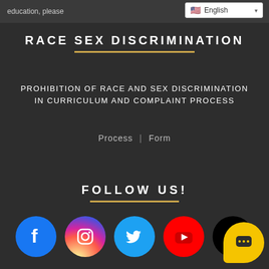education, please
RACE SEX DISCRIMINATION
PROHIBITION OF RACE AND SEX DISCRIMINATION IN CURRICULUM AND COMPLAINT PROCESS
Process | Form
FOLLOW US!
[Figure (illustration): Social media icons row: Facebook (blue circle with f), Instagram (gradient circle with camera), Twitter (light blue circle with bird), YouTube (red circle with play button), TikTok (black circle with logo), and a yellow chat bubble icon]